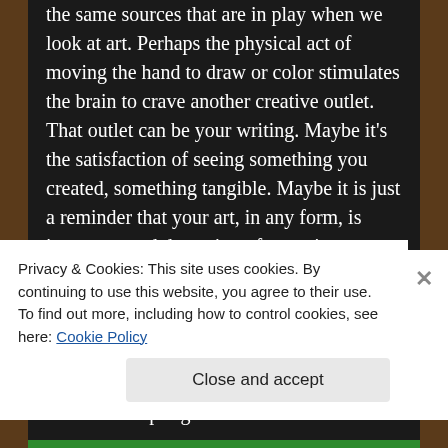the same sources that are in play when we look at art. Perhaps the physical act of moving the hand to draw or color stimulates the brain to crave another creative outlet. That outlet can be your writing. Maybe it's the satisfaction of seeing something you created, something tangible. Maybe it is just a reminder that your art, in any form, is important and deserving of your time.
If you use art to to inspire or motivate your writing, I'd love to hear from you.
What's your art form?
Do you use a tablet, sketch pad, pencil, brush or sculpting tool?
Privacy & Cookies: This site uses cookies. By continuing to use this website, you agree to their use.
To find out more, including how to control cookies, see here: Cookie Policy